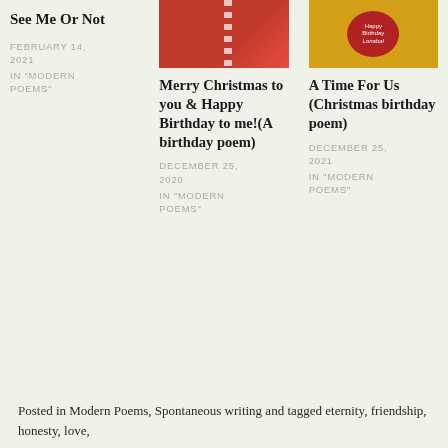See Me Or Not
FEBRUARY 14, 2021
IN "MODERN POEMS"
[Figure (photo): Red gift box with white and red striped straw or ribbon decoration on red background]
[Figure (photo): Birthday cake with red and gold decoration and Happy Birthday text]
Merry Christmas to you & Happy Birthday to me!(A birthday poem)
DECEMBER 25, 2020
IN "MODERN POEMS"
A Time For Us (Christmas birthday poem)
DECEMBER 25, 2021
IN "MODERN POEMS"
Posted in Modern Poems, Spontaneous writing and tagged eternity, friendship, honesty, love,